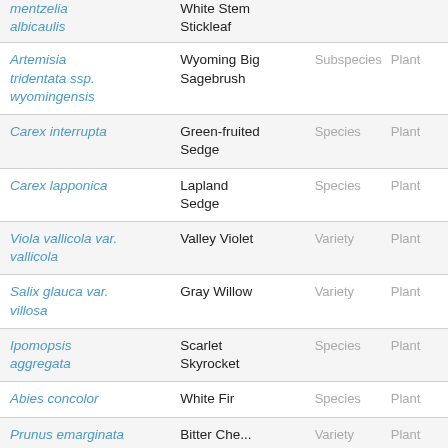| Scientific Name | Common Name | Rank | Kingdom |
| --- | --- | --- | --- |
| mentzelia albicaulis | White Stem Stickleaf |  |  |
| Artemisia tridentata ssp. wyomingensis | Wyoming Big Sagebrush | Subspecies | Plant |
| Carex interrupta | Green-fruited Sedge | Species | Plant |
| Carex lapponica | Lapland Sedge | Species | Plant |
| Viola vallicola var. vallicola | Valley Violet | Variety | Plant |
| Salix glauca var. villosa | Gray Willow | Variety | Plant |
| Ipomopsis aggregata | Scarlet Skyrocket | Species | Plant |
| Abies concolor | White Fir | Species | Plant |
| Prunus emarginata | Bitter Che... | Variety | Plant |